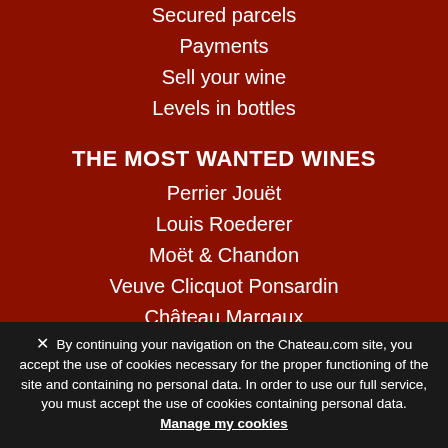Secured parcels
Payments
Sell your wine
Levels in bottles
THE MOST WANTED WINES
Perrier Jouët
Louis Roederer
Moët & Chandon
Veuve Clicquot Ponsardin
Château Margaux
Ruinart
Domaine de la Romanée-Conti
Château Latour
G.H Mumm
✕  By continuing your navigation on the Chateau.com site, you accept the use of cookies necessary for the proper functioning of the site and containing no personal data. In order to use our full service, you must accept the use of cookies containing personal data. Manage my cookies